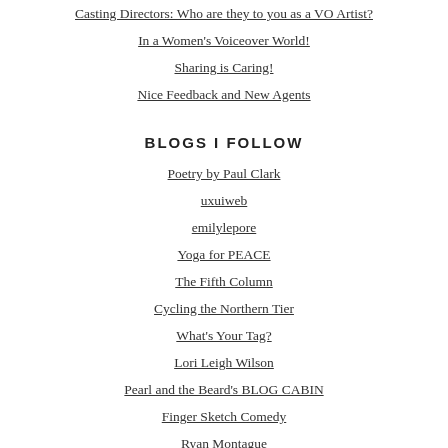Casting Directors: Who are they to you as a VO Artist?
In a Women's Voiceover World!
Sharing is Caring!
Nice Feedback and New Agents
BLOGS I FOLLOW
Poetry by Paul Clark
uxuiweb
emilylepore
Yoga for PEACE
The Fifth Column
Cycling the Northern Tier
What's Your Tag?
Lori Leigh Wilson
Pearl and the Beard's BLOG CABIN
Finger Sketch Comedy
Ryan Montague
::Tullycast::